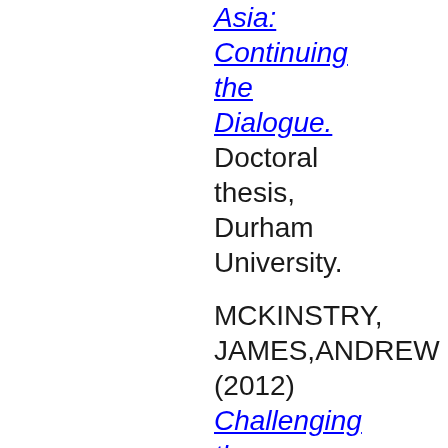Asia: Continuing the Dialogue. Doctoral thesis, Durham University.
MCKINSTRY,JAMES,ANDREW (2012) Challenging the Authority of Identity: The Spaces of Memory in